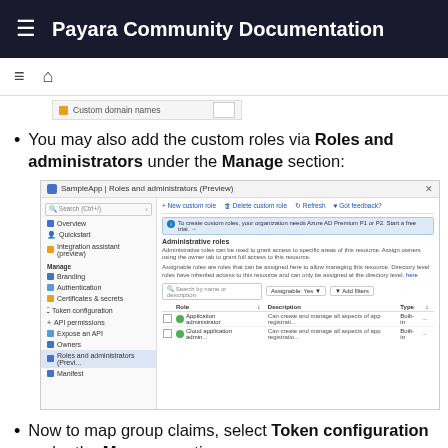Payara Community Documentation
[Figure (screenshot): Partial screenshot showing a 'Custom domain names' navigation item in an Azure portal sidebar]
You may also add the custom roles via Roles and administrators under the Manage section:
[Figure (screenshot): Screenshot of SampleApp | Roles and administrators (Preview) page in Azure portal, showing Administrative roles section with Application administrator and Cloud application administrator roles listed.]
Now to map group claims, select Token configuration under the Manage section: